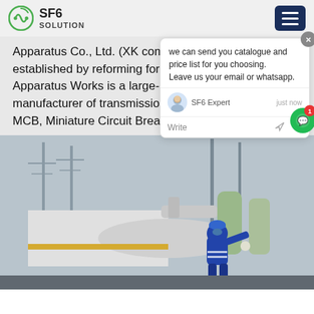SF6 SOLUTION
Apparatus Co., Ltd. (XK company for short below), established by reforming former Xi'an High Voltage Apparatus Works is a large-scale professional manufacturer of transmission and tr... MCB, Miniature Circuit Breaker
[Figure (photo): Worker in blue protective suit and hard hat operating equipment on a large industrial SF6 gas insulated switchgear installation, with power line towers in background.]